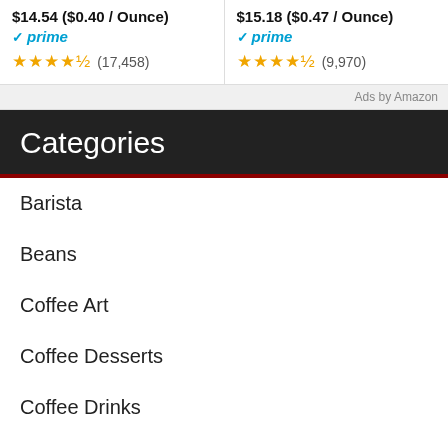$14.54 ($0.40 / Ounce) prime ★★★★½ (17,458)
$15.18 ($0.47 / Ounce) prime ★★★★½ (9,970)
Ads by Amazon
Categories
Barista
Beans
Coffee Art
Coffee Desserts
Coffee Drinks
Coffee Gear
News